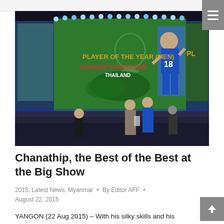[Figure (photo): Award ceremony on a stage with large green LED screen displaying 'PLAYER OF THE YEAR (MEN) - CHANATIP SONGKRASIN, THAILAND' in orange and white text, with a footballer in a blue jersey numbered 18 shown on screen. Two people stand on stage in foreground.]
Chanathip, the Best of the Best at the Big Show
2015, Latest News, Myanmar • By Editor AFF • August 22, 2015
YANGON (22 Aug 2015) – With his silky skills and his